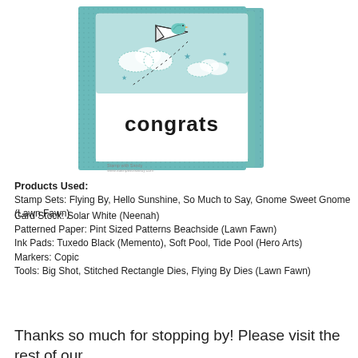[Figure (photo): A handmade congratulations card featuring a paper airplane with a teal bird riding on top, clouds, stars, and hearts on a teal patterned background. The word 'congrats' is stamped in black lowercase letters on a white panel with stitched rectangle die cuts.]
Products Used:
Stamp Sets: Flying By, Hello Sunshine, So Much to Say, Gnome Sweet Gnome (Lawn Fawn)
Card Stock: Solar White (Neenah)
Patterned Paper: Pint Sized Patterns Beachside (Lawn Fawn)
Ink Pads: Tuxedo Black (Memento), Soft Pool, Tide Pool (Hero Arts)
Markers: Copic
Tools: Big Shot, Stitched Rectangle Dies, Flying By Dies (Lawn Fawn)
Thanks so much for stopping by! Please visit the rest of our